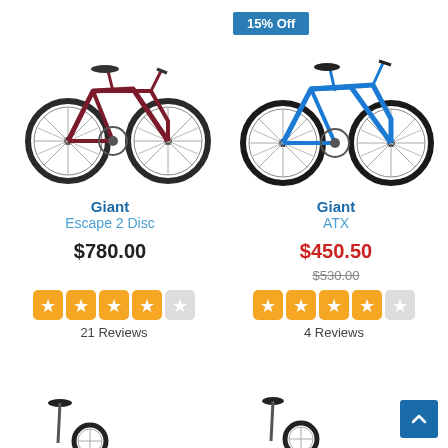15% Off
[Figure (photo): Red Giant Escape 2 Disc bicycle, side view]
[Figure (photo): Blue Giant ATX bicycle, side view]
Giant
Escape 2 Disc
$780.00
21 Reviews
Giant
ATX
$450.50
$530.00
4 Reviews
[Figure (photo): Partial view of a bike (bottom left)]
[Figure (photo): Partial view of a bike (bottom right)]